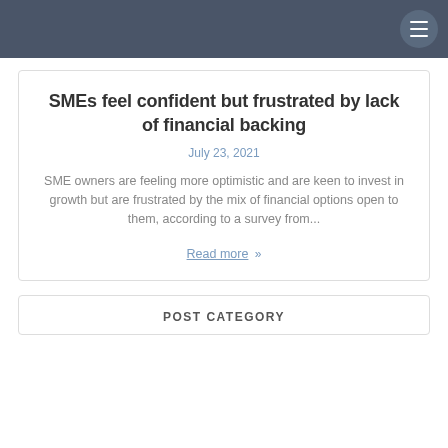SMEs feel confident but frustrated by lack of financial backing
July 23, 2021
SME owners are feeling more optimistic and are keen to invest in growth but are frustrated by the mix of financial options open to them, according to a survey from...
Read more »
POST CATEGORY